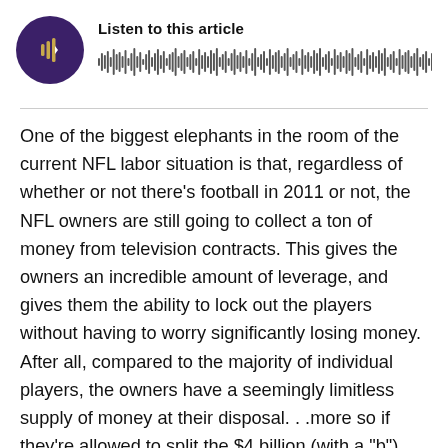[Figure (other): Audio player widget with a dark purple circular play button showing a play icon with sound waves, a 'Listen to this article' label, and a waveform/progress bar visualization]
One of the biggest elephants in the room of the current NFL labor situation is that, regardless of whether or not there's football in 2011 or not, the NFL owners are still going to collect a ton of money from television contracts. This gives the owners an incredible amount of leverage, and gives them the ability to lock out the players without having to worry significantly losing money. After all, compared to the majority of individual players, the owners have a seemingly limitless supply of money at their disposal. . .more so if they're allowed to split the $4 billion (with a "b") that the most recent television deal gives them regardless of whether games are played or not.